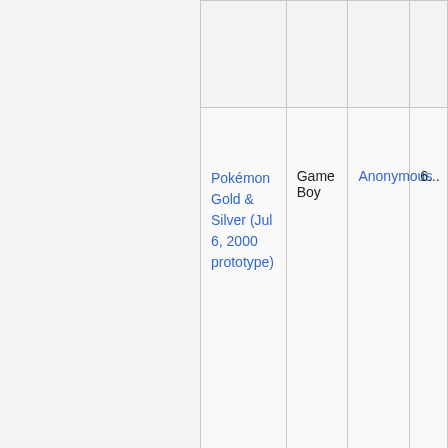| Pokémon Gold & Silver (Jul 6, 2000 prototype) | Game Boy | Anonymous | 6... |